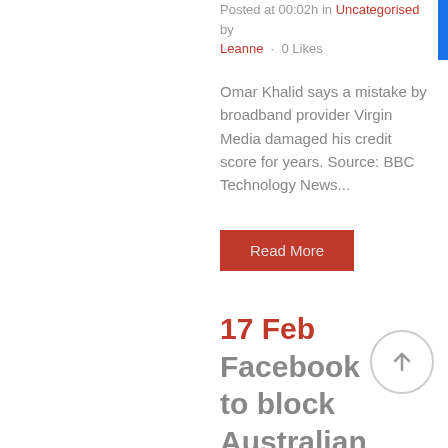Posted at 00:02h in Uncategorised by Leanne · 0 Likes
Omar Khalid says a mistake by broadband provider Virgin Media damaged his credit score for years. Source: BBC Technology News...
Read More
17 Feb Facebook to block Australian users from viewing or sharing news